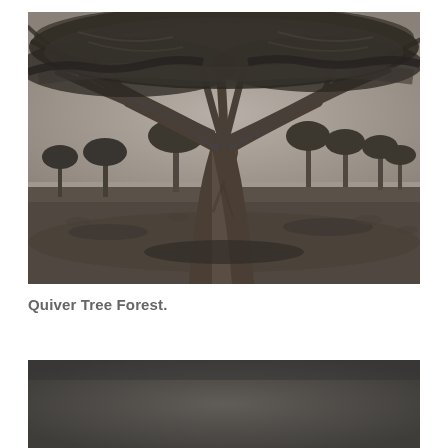[Figure (photo): Black and white photograph of a large Dragon Blood tree (Dracaena cinnabari) with its distinctive umbrella-shaped canopy of dense branching. The massive trunk splits into many twisted branches forming a wide flat top. In the background are many more similar trees across a rocky landscape under an overcast sky. The scene appears to be from Socotra island.]
Quiver Tree Forest.
[Figure (photo): Black and white photograph, partially visible at the bottom of the page, showing a dark grey landscape with minimal detail, possibly a barren or foggy scene.]